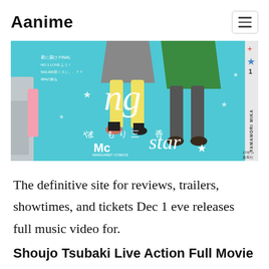Aanime
[Figure (illustration): Manga book cover with cyan/turquoise background showing anime characters (school girls jumping), Japanese text, stars, 'Mc' logo, 'star' text, 'YAMAMORI MiKA' vertical text on right side with a star icon]
The definitive site for reviews, trailers, showtimes, and tickets Dec 1 eve releases full music video for.
Shoujo Tsubaki Live Action Full Movie